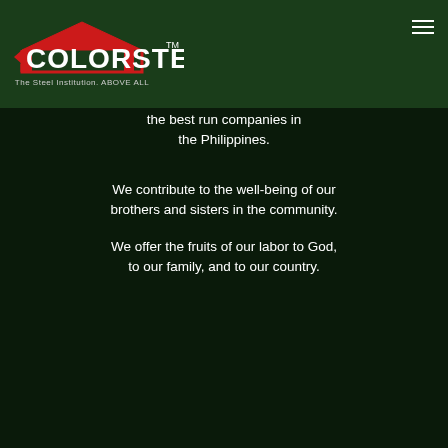[Figure (logo): Colorsteel logo with red house/arrow icon and white text reading COLORSTEEL with tagline 'The Steel Institution. ABOVE ALL']
the best run companies in the Philippines.
We contribute to the well-being of our brothers and sisters in the community.
We offer the fruits of our labor to God, to our family, and to our country.